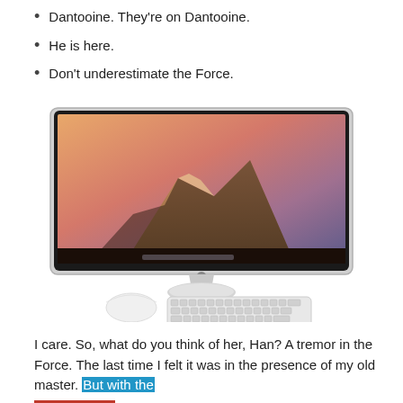Dantooine. They're on Dantooine.
He is here.
Don't underestimate the Force.
[Figure (photo): Apple iMac desktop computer with keyboard and mouse, showing OS X Yosemite wallpaper (El Capitan mountain at sunset)]
I care. So, what do you think of her, Han? A tremor in the Force. The last time I felt it was in the presence of my old master. But with the